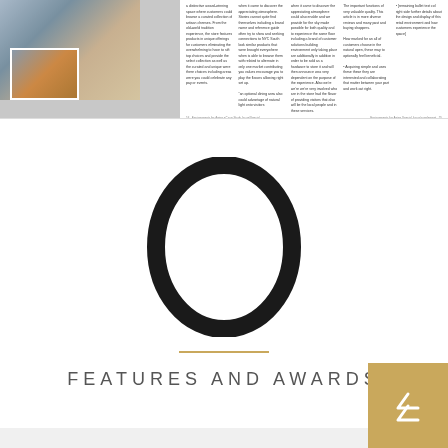[Figure (photo): Magazine spread showing a retail/bakery shop interior with display cases and shelving, multiple columns of body text on the right side]
54  [footer text left] | [footer text right]  55
[Figure (illustration): Large black oval/ring shape centered on white background, resembling a numeral zero or letter O]
FEATURES AND AWARDS